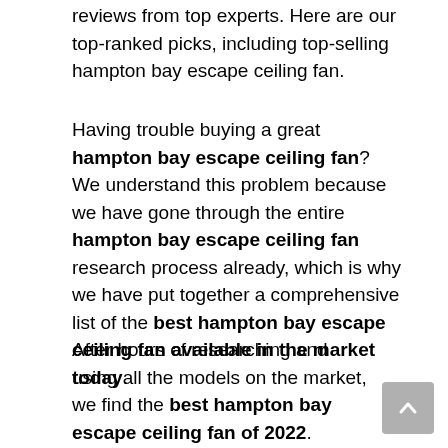reviews from top experts. Here are our top-ranked picks, including top-selling hampton bay escape ceiling fan.
Having trouble buying a great hampton bay escape ceiling fan? We understand this problem because we have gone through the entire hampton bay escape ceiling fan research process already, which is why we have put together a comprehensive list of the best hampton bay escape ceiling fan available in the market today.
After hours of researching and using all the models on the market, we find the best hampton bay escape ceiling fan of 2022. Check out our ranking below!